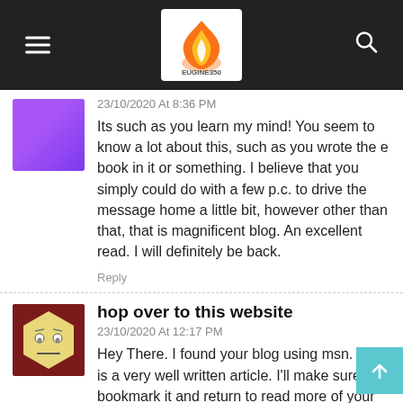EUGINE350 website header with hamburger menu and search icon
23/10/2020 At 8:36 PM
Its such as you learn my mind! You seem to know a lot about this, such as you wrote the e book in it or something. I believe that you simply could do with a few p.c. to drive the message home a little bit, however other than that, that is magnificent blog. An excellent read. I will definitely be back.
Reply
hop over to this website
23/10/2020 At 12:17 PM
Hey There. I found your blog using msn. This is a very well written article. I'll make sure to bookmark it and return to read more of your useful info. Thanks for the post. I'll definitely comeback.
Reply